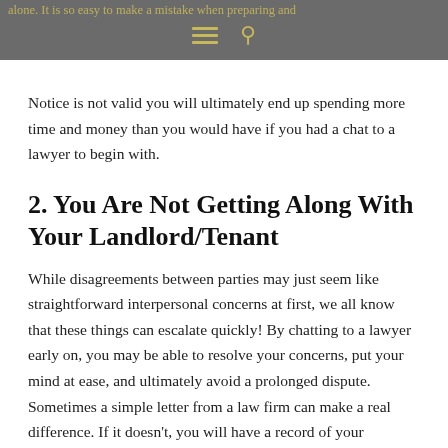alone. It is so easy to make a mistake when preparing and
Notice is not valid you will ultimately end up spending more time and money than you would have if you had a chat to a lawyer to begin with.
2. You Are Not Getting Along With Your Landlord/Tenant
While disagreements between parties may just seem like straightforward interpersonal concerns at first, we all know that these things can escalate quickly! By chatting to a lawyer early on, you may be able to resolve your concerns, put your mind at ease, and ultimately avoid a prolonged dispute. Sometimes a simple letter from a law firm can make a real difference. If it doesn't, you will have a record of your concerns and can point to your attempts to resolve issues later on down